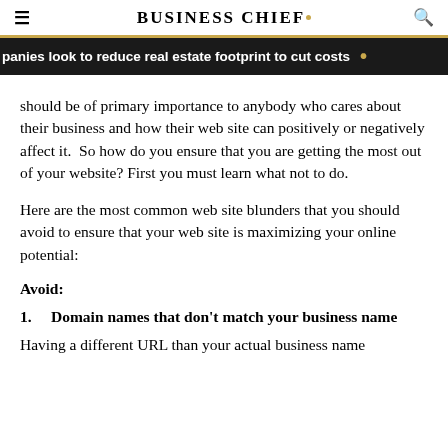BUSINESS CHIEF.
panies look to reduce real estate footprint to cut costs
should be of primary importance to anybody who cares about their business and how their web site can positively or negatively affect it.  So how do you ensure that you are getting the most out of your website? First you must learn what not to do.
Here are the most common web site blunders that you should avoid to ensure that your web site is maximizing your online potential:
Avoid:
1.    Domain names that don't match your business name
Having a different URL than your actual business name